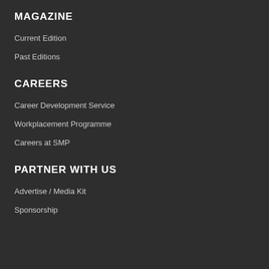MAGAZINE
Current Edition
Past Editions
CAREERS
Career Development Service
Workplacement Programme
Careers at SMP
PARTNER WITH US
Advertise / Media Kit
Sponsorship